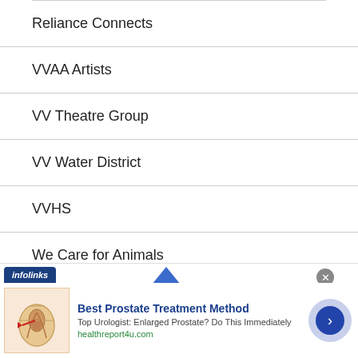Reliance Connects
VVAA Artists
VV Theatre Group
VV Water District
VVHS
We Care for Animals
[Figure (screenshot): Advertisement banner: infolinks logo, 'Best Prostate Treatment Method' ad with medical illustration, text 'Top Urologist: Enlarged Prostate? Do This Immediately', URL 'healthreport4u.com', close button, and arrow navigation button.]